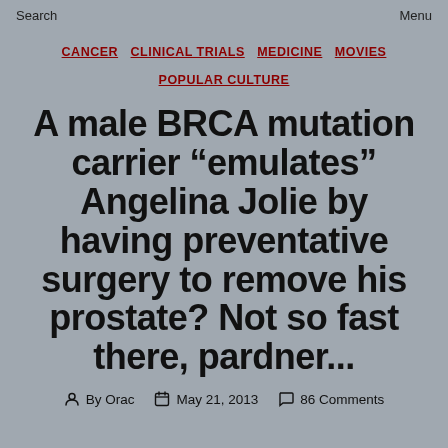Search    Menu
CANCER  CLINICAL TRIALS  MEDICINE  MOVIES  POPULAR CULTURE
A male BRCA mutation carrier “emulates” Angelina Jolie by having preventative surgery to remove his prostate? Not so fast there, pardner...
By Orac   May 21, 2013   86 Comments